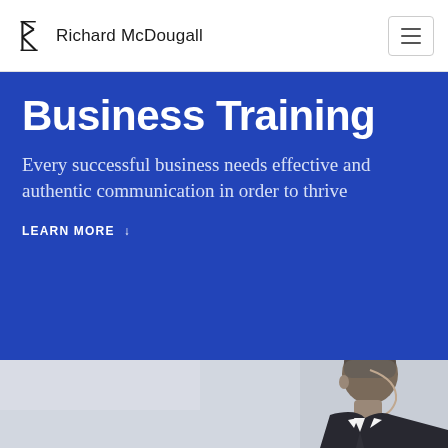Richard McDougall
Business Training
Every successful business needs effective and authentic communication in order to thrive
LEARN MORE ↓
[Figure (photo): A man in a dark suit, profile view facing right, against a light grey/white background. Only the right portion of the page shows this figure.]